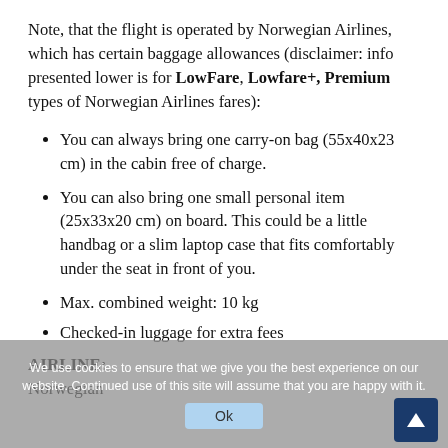Note, that the flight is operated by Norwegian Airlines, which has certain baggage allowances (disclaimer: info presented lower is for LowFare, Lowfare+, Premium types of Norwegian Airlines fares):
You can always bring one carry-on bag (55x40x23 cm) in the cabin free of charge.
You can also bring one small personal item (25x33x20 cm) on board. This could be a little handbag or a slim laptop case that fits comfortably under the seat in front of you.
Max. combined weight: 10 kg
Checked-in luggage for extra fees
AIRLINE:
Norwegian
We use cookies to ensure that we give you the best experience on our website. Continued use of this site will assume that you are happy with it.